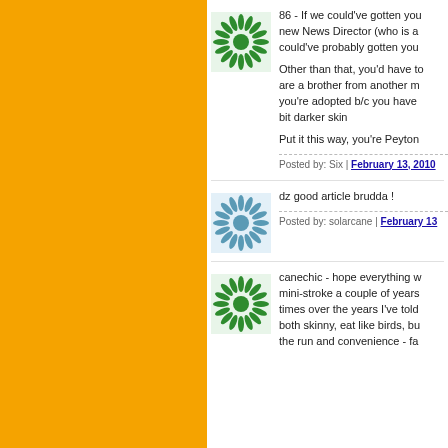[Figure (illustration): Green spiral/sunburst avatar icon for user Six]
86 - If we could've gotten you new News Director (who is a could've probably gotten you
Other than that, you'd have to are a brother from another m you're adopted b/c you have bit darker skin
Put it this way, you're Peyton
Posted by: Six | February 13, 2010
[Figure (illustration): Blue/grey spiral/sunburst avatar icon for user solarcane]
dz good article brudda !
Posted by: solarcane | February 13
[Figure (illustration): Green spiral/sunburst avatar icon for third commenter]
canechic - hope everything w mini-stroke a couple of years times over the years I've told both skinny, eat like birds, bu the run and convenience - fa